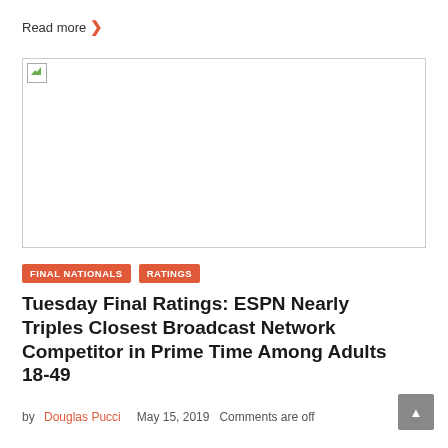Read more ›
[Figure (photo): Broken image placeholder (image failed to load)]
FINAL NATIONALS   RATINGS
Tuesday Final Ratings: ESPN Nearly Triples Closest Broadcast Network Competitor in Prime Time Among Adults 18-49
by Douglas Pucci   May 15, 2019   Comments are off